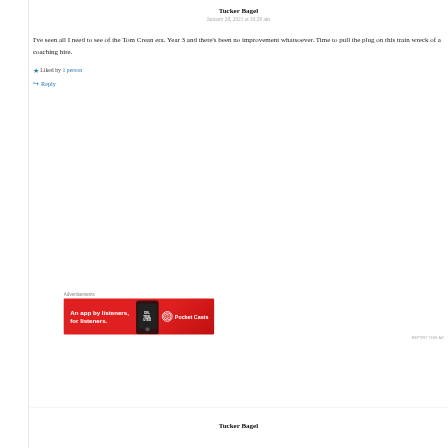Tucker Bagel
January 28, 2021 at 10:29 am
I've seen all I need to see of the Tom Crean era. Year 3 and there's been no improvement whatsoever. Time to pull the plug on this train wreck of a coaching hire.
★ Liked by 1 person
↪ Reply
Advertisements
[Figure (other): Pocket Casts advertisement banner: red background with text 'An app by listeners, for listeners.' and Pocket Casts logo with a phone image]
REPORT THIS AD
Tucker Bagel